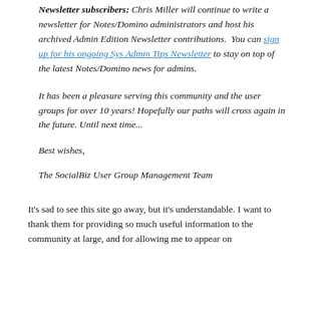Newsletter subscribers: Chris Miller will continue to write a newsletter for Notes/Domino administrators and host his archived Admin Edition Newsletter contributions.  You can sign up for his ongoing Sys Admin Tips Newsletter to stay on top of the latest Notes/Domino news for admins.
It has been a pleasure serving this community and the user groups for over 10 years! Hopefully our paths will cross again in the future. Until next time...
Best wishes,
The SocialBiz User Group Management Team
It's sad to see this site go away, but it's understandable. I want to thank them for providing so much useful information to the community at large, and for allowing me to appear on